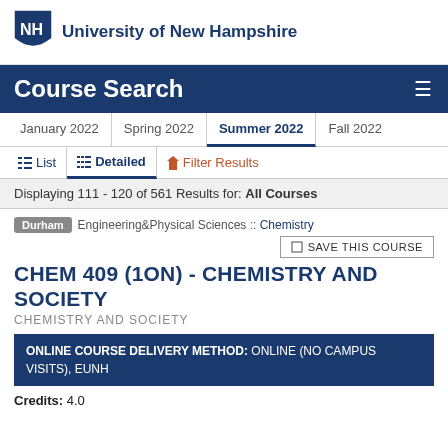University of New Hampshire
Course Search
January 2022 | Spring 2022 | Summer 2022 | Fall 2022
≡ List   ≡ Detailed   ⧫ Filter Results
Displaying 111 - 120 of 561 Results for: All Courses
Durham   Engineering&Physical Sciences :: Chemistry
☐ SAVE THIS COURSE
CHEM 409 (1ON) - CHEMISTRY AND SOCIETY
CHEMISTRY AND SOCIETY
ONLINE COURSE DELIVERY METHOD: ONLINE (NO CAMPUS VISITS), EUNH
Credits: 4.0